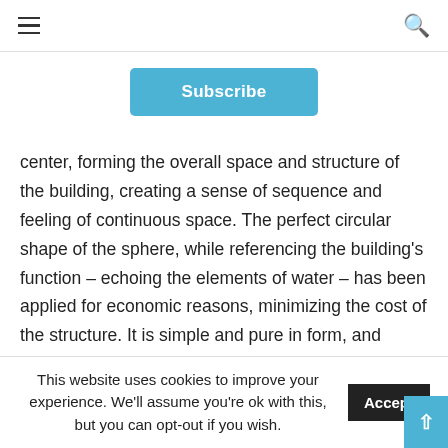≡  🔍
Subscribe
center, forming the overall space and structure of the building, creating a sense of sequence and feeling of continuous space. The perfect circular shape of the sphere, while referencing the building's function – echoing the elements of water – has been applied for economic reasons, minimizing the cost of the structure. It is simple and pure in form, and eliminates the need to consider a new design logic for the interior.
This website uses cookies to improve your experience. We'll assume you're ok with this, but you can opt-out if you wish.  Accept